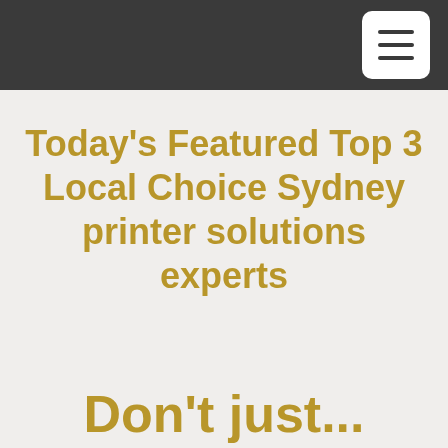[Figure (screenshot): Dark header bar with white hamburger menu button (three horizontal lines) in the top-right corner]
Today's Featured Top 3 Local Choice Sydney printer solutions experts
Don't just...